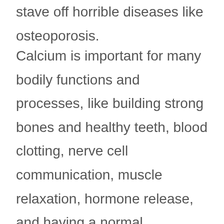stave off horrible diseases like osteoporosis.
Calcium is important for many bodily functions and processes, like building strong bones and healthy teeth, blood clotting, nerve cell communication, muscle relaxation, hormone release, and having a normal heartbeat. Calcium makes up 2% of total body weight, and it helps with disease prevention and nutrient absorption.